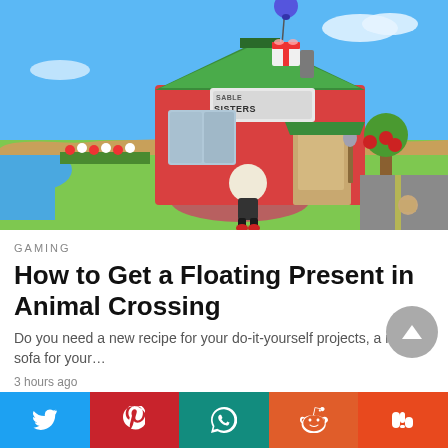[Figure (screenshot): Animal Crossing: New Horizons game screenshot showing the Able Sisters shop with a green roof, red walls, flowers in front, a character standing outside, and a gift box floating on a blue balloon in the sky]
GAMING
How to Get a Floating Present in Animal Crossing
Do you need a new recipe for your do-it-yourself projects, a new sofa for your…
3 hours ago
[Figure (infographic): Social sharing bar with five buttons: Twitter (blue), Pinterest (red), WhatsApp (dark teal), Reddit (orange), StumbleUpon (orange-red)]